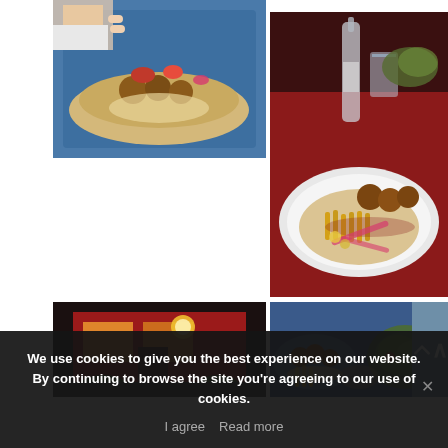[Figure (photo): Person preparing falafel wrap on blue cutting board]
[Figure (photo): Falafel plate with fries, hummus, pickled vegetables and glass bottle on red table]
[Figure (photo): Restaurant exterior with red facade and warm lighting]
[Figure (photo): Multiple food dishes including falafel and salads on blue trays]
We use cookies to give you the best experience on our website. By continuing to browse the site you're agreeing to our use of cookies.
I agree   Read more